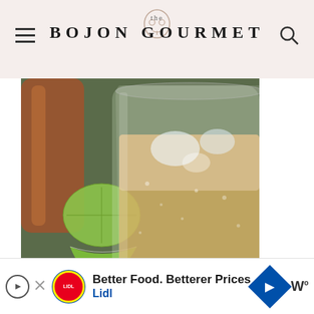the BOJON GOURMET
[Figure (photo): Close-up photo of a cocktail glass filled with a light golden/orange drink with ice, next to lime wedges and a bottle in the background, on a green surface]
Depending on how you see it, I had the good fortune or misfortune of spending three weeks in Italy.
[Figure (other): Lidl advertisement banner: Better Food. Betterer Prices - Lidl]